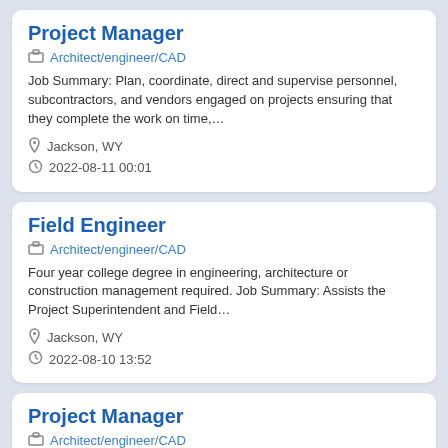Project Manager
Architect/engineer/CAD
Job Summary: Plan, coordinate, direct and supervise personnel, subcontractors, and vendors engaged on projects ensuring that they complete the work on time,…
Jackson, WY
2022-08-11 00:01
Field Engineer
Architect/engineer/CAD
Four year college degree in engineering, architecture or construction management required. Job Summary: Assists the Project Superintendent and Field…
Jackson, WY
2022-08-10 13:52
Project Manager
Architect/engineer/CAD
Job Summary: Plan, coordinate, direct and supervise personnel, subcontractors, and vendors engaged on projects